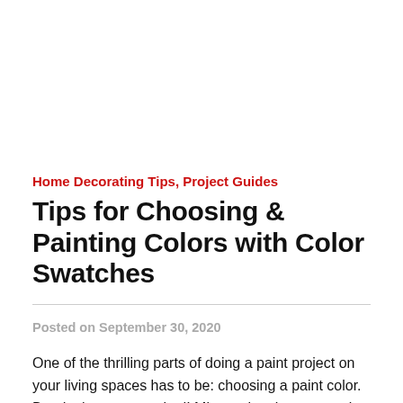Home Decorating Tips, Project Guides
Tips for Choosing & Painting Colors with Color Swatches
Posted on September 30, 2020
One of the thrilling parts of doing a paint project on your living spaces has to be: choosing a paint color. But don't get too excited! Mismatches between color swatches and actual painted colors are always a possibility. For your next DIY painting project, avoid